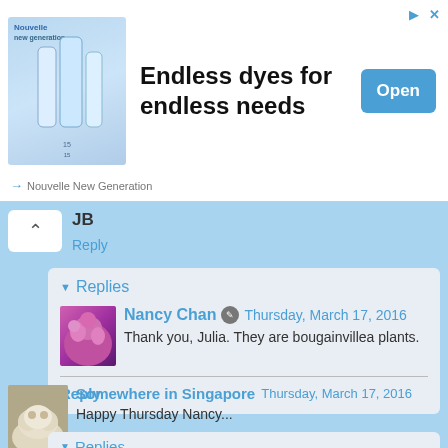[Figure (photo): Advertisement banner for Nouvelle New Generation hair dye products showing bottles and the text 'Endless dyes for endless needs' with an Open button]
JB
Reply
Replies
Nancy Chan  Thursday, March 17, 2016
Thank you, Julia. They are bougainvillea plants.
Reply
Somewhere in Singapore  Thursday, March 17, 2016
Happy Thursday Nancy...
Reply
Replies